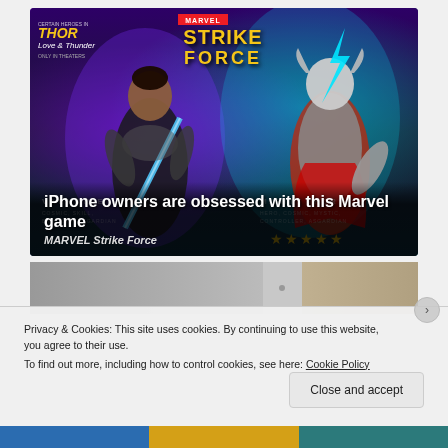[Figure (screenshot): Advertisement for MARVEL Strike Force mobile game featuring Thor: Love and Thunder crossover. Shows two animated characters - Valkyrie on the left holding a sword and Mighty Thor on the right. The Marvel Strike Force logo appears at the top center. Background is purple and teal with dramatic lighting. Text overlay reads: 'iPhone owners are obsessed with this Marvel game' and 'MARVEL Strike Force' with star rating.]
iPhone owners are obsessed with this Marvel game
MARVEL Strike Force
Privacy & Cookies: This site uses cookies. By continuing to use this website, you agree to their use.
To find out more, including how to control cookies, see here: Cookie Policy
Close and accept